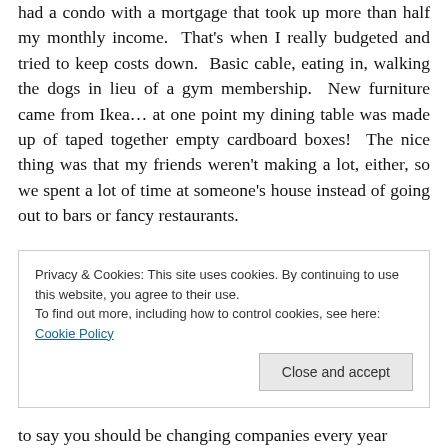had a condo with a mortgage that took up more than half my monthly income.  That's when I really budgeted and tried to keep costs down.  Basic cable, eating in, walking the dogs in lieu of a gym membership.  New furniture came from Ikea… at one point my dining table was made up of taped together empty cardboard boxes!  The nice thing was that my friends weren't making a lot, either, so we spent a lot of time at someone's house instead of going out to bars or fancy restaurants.
Privacy & Cookies: This site uses cookies. By continuing to use this website, you agree to their use.
To find out more, including how to control cookies, see here: Cookie Policy
to say you should be changing companies every year